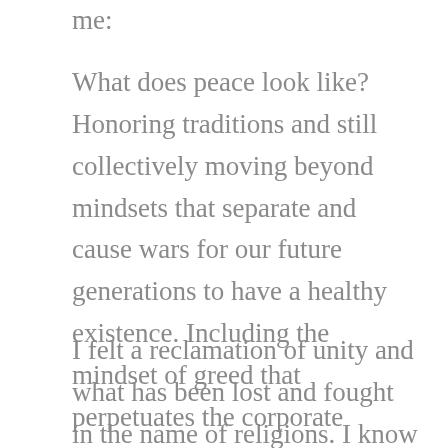me:
What does peace look like? Honoring traditions and still collectively moving beyond mindsets that separate and cause wars for our future generations to have a healthy existence. Including the mindset of greed that perpetuates the corporate stronghold on our planet which is destroying our natural resources.
I felt a reclamation of unity and what has been lost and fought in the name of religions. I know in my heart there is a peaceful way for us all to live in harmony